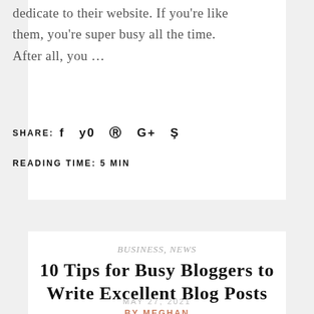dedicate to their website. If you're like them, you're super busy all the time. After all, you …
SHARE: f ♥ ⊕ G+ ↪
READING TIME: 5 MIN
BUSINESS, NEWS
10 Tips for Busy Bloggers to Write Excellent Blog Posts
MAY 27, 2021
BY MEGHAN